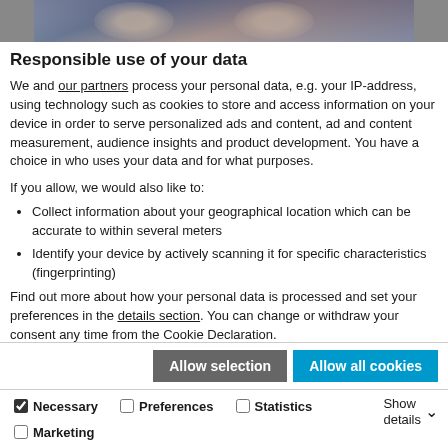[Figure (photo): Partial photo strip at top of page showing people, partially cropped]
Responsible use of your data
We and our partners process your personal data, e.g. your IP-address, using technology such as cookies to store and access information on your device in order to serve personalized ads and content, ad and content measurement, audience insights and product development. You have a choice in who uses your data and for what purposes.
If you allow, we would also like to:
Collect information about your geographical location which can be accurate to within several meters
Identify your device by actively scanning it for specific characteristics (fingerprinting)
Find out more about how your personal data is processed and set your preferences in the details section. You can change or withdraw your consent any time from the Cookie Declaration.
Cookies personalise content and ads, provide social media features and analyse our traffic. We also share information about your use of our site with social media, advertising and analytics partners who may combine it with other information you've provided to them or that they've collected from your use of their services.
Allow selection | Allow all cookies (buttons)
Necessary | Preferences | Statistics | Marketing | Show details